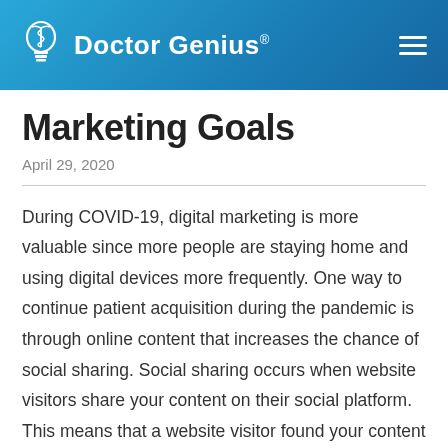Doctor Genius®
Marketing Goals
April 29, 2020
During COVID-19, digital marketing is more valuable since more people are staying home and using digital devices more frequently. One way to continue patient acquisition during the pandemic is through online content that increases the chance of social sharing. Social sharing occurs when website visitors share your content on their social platform. This means that a website visitor found your content valuable or inspirational enough for them to want to share it with